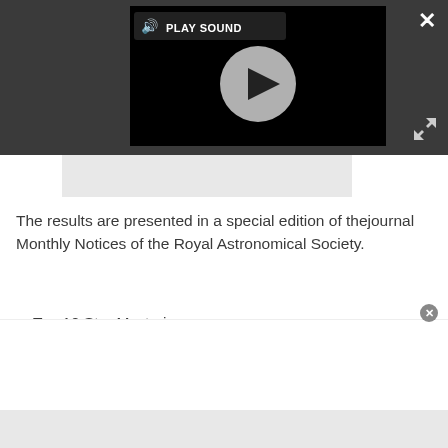[Figure (screenshot): Video player with dark toolbar background, showing a black video area with a play button circle and a 'PLAY SOUND' label with speaker icon. Close X button top-right, expand icon bottom-right of toolbar. Gray banner below toolbar.]
The results are presented in a special edition of thejournal Monthly Notices of the Royal Astronomical Society.
Top 10 Star Mysteries
Video ? The Herschel and Planck Missions
Spectacular Nebulas in Deep Space